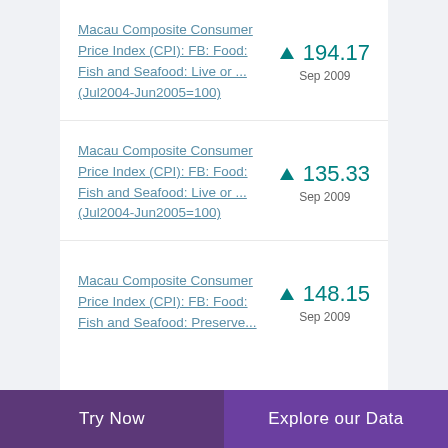Macau Composite Consumer Price Index (CPI): FB: Food: Fish and Seafood: Live or ... (Jul2004-Jun2005=100)
Macau Composite Consumer Price Index (CPI): FB: Food: Fish and Seafood: Live or ... (Jul2004-Jun2005=100)
Macau Composite Consumer Price Index (CPI): FB: Food: Fish and Seafood: Preserve...
Try Now   Explore our Data